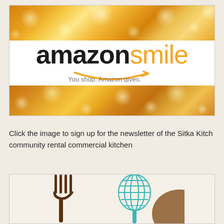[Figure (logo): Amazon Smile logo with bokeh golden background. Text reads 'amazon smile' (amazon in black, smile in orange) with orange arrow/smile graphic underneath. Tagline: 'You shop. Amazon gives.']
Click the image to sign up for the newsletter of the Sitka Kitch community rental commercial kitchen
[Figure (illustration): Sitka Kitch illustration showing kitchen utensils: a dark brown fork on left, a teal/turquoise whisk in center-right, and a partial brown circular shape on the right edge, on a light beige background.]